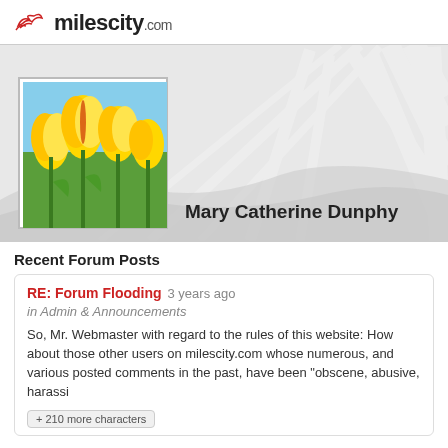milescity.com
[Figure (illustration): Profile banner with sun rays and rolling hills background, with a profile photo of yellow tulips and blue sky, and name 'Mary Catherine Dunphy']
Mary Catherine Dunphy
Recent Forum Posts
RE: Forum Flooding 3 years ago
in Admin & Announcements
So, Mr. Webmaster with regard to the rules of this website: How about those other users on milescity.com whose numerous, and various posted comments in the past, have been "obscene, abusive, harassi
+ 210 more characters